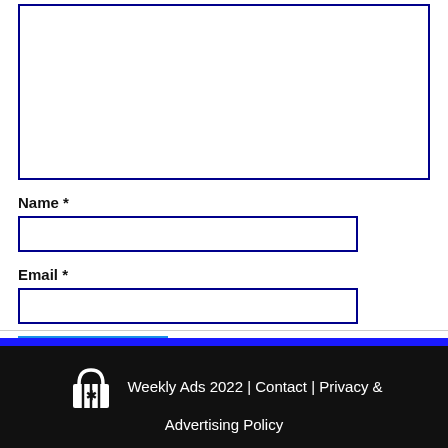[Figure (screenshot): Empty textarea input box with dark blue border]
Name *
[Figure (screenshot): Text input field for Name with dark blue border]
Email *
[Figure (screenshot): Text input field for Email with dark blue border]
[Figure (screenshot): Blue Post Comment button]
Weekly Ads 2022 | Contact | Privacy & Advertising Policy